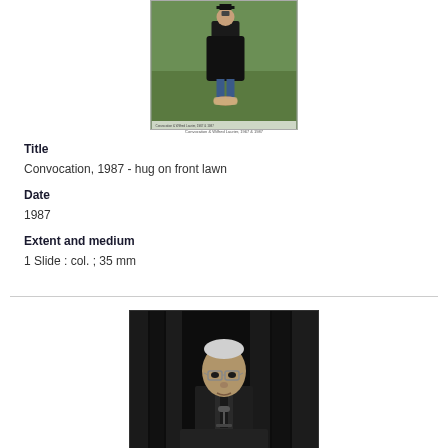[Figure (photo): Person in graduation gown standing on front lawn outdoor photo]
Convocation photo caption text
Title
Convocation, 1987 - hug on front lawn
Date
1987
Extent and medium
1 Slide : col. ; 35 mm
[Figure (photo): Black and white photo of an older man speaking at a podium with microphone, dark curtain background]